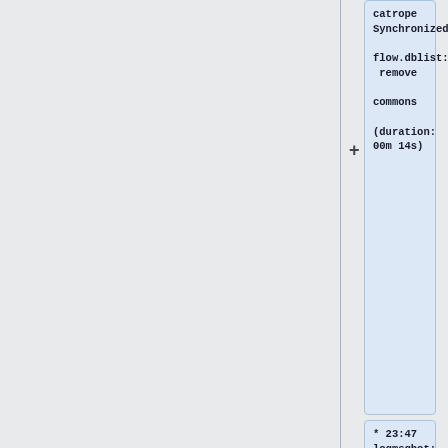catrope Synchronized flow.dblist: remove commons (duration: 00m 14s)
* 23:47 logmsgbot: krenair Synchronized wmf-config/InitialiseSettings.php: https://gerrit.wikimedia.org/r/#/c/195886/ (duration: